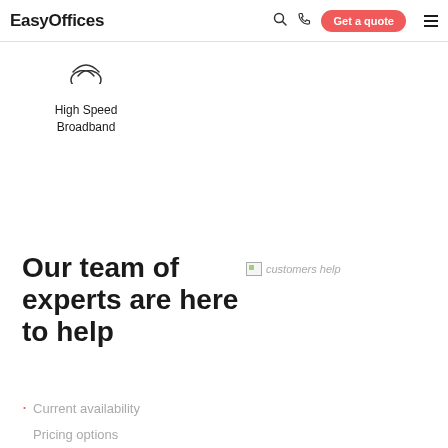EasyOffices | Get a quote
[Figure (illustration): WiFi / broadband icon — partial arc lines forming a wifi signal symbol inside a circle outline]
High Speed Broadband
Our team of experts are here to help
[Figure (photo): customers help — broken image placeholder]
Current availability
Pricing options